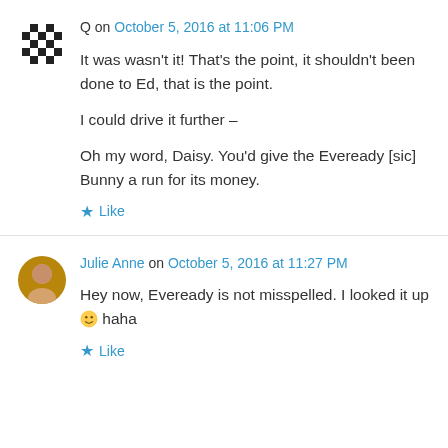[Figure (illustration): Pixelated dark avatar icon for user Q]
Q on October 5, 2016 at 11:06 PM
It was wasn't it! That's the point, it shouldn't been done to Ed, that is the point.

I could drive it further –

Oh my word, Daisy. You'd give the Eveready [sic] Bunny a run for its money.
★ Like
[Figure (photo): Round avatar photo of Julie Anne]
Julie Anne on October 5, 2016 at 11:27 PM
Hey now, Eveready is not misspelled. I looked it up 🙂 haha
★ Like